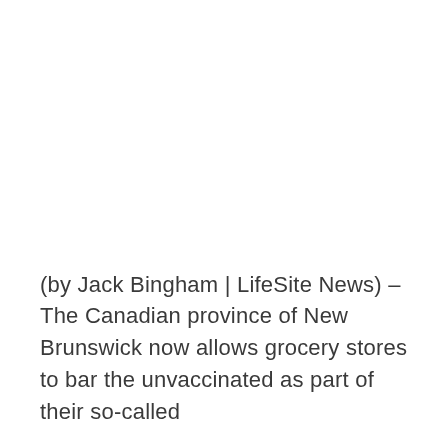(by Jack Bingham | LifeSite News) – The Canadian province of New Brunswick now allows grocery stores to bar the unvaccinated as part of their so-called